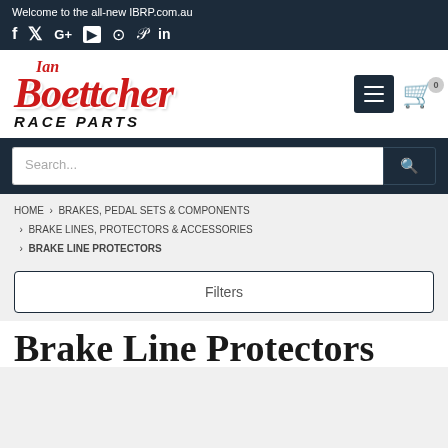Welcome to the all-new IBRP.com.au
Social icons: f (Facebook), Twitter, G+, YouTube, Instagram, Pinterest, in (LinkedIn)
[Figure (logo): Ian Boettcher Race Parts logo with red stylized text and black italic RACE PARTS subtitle]
Search...
HOME › BRAKES, PEDAL SETS & COMPONENTS › BRAKE LINES, PROTECTORS & ACCESSORIES › BRAKE LINE PROTECTORS
Filters
Brake Line Protectors